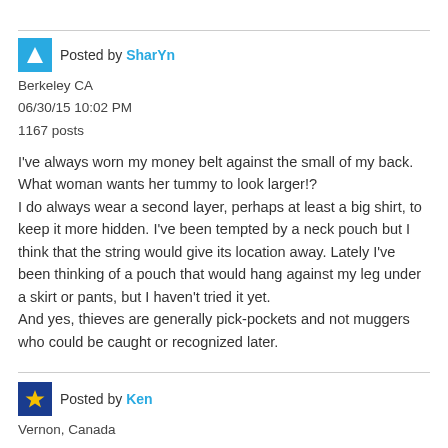Posted by SharYn
Berkeley CA
06/30/15 10:02 PM
1167 posts
I've always worn my money belt against the small of my back. What woman wants her tummy to look larger!? I do always wear a second layer, perhaps at least a big shirt, to keep it more hidden. I've been tempted by a neck pouch but I think that the string would give its location away. Lately I've been thinking of a pouch that would hang against my leg under a skirt or pants, but I haven't tried it yet. And yes, thieves are generally pick-pockets and not muggers who could be caught or recognized later.
Posted by Ken
Vernon, Canada